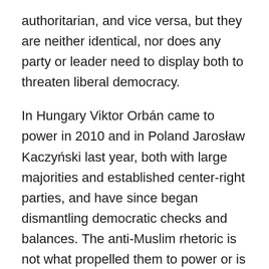authoritarian, and vice versa, but they are neither identical, nor does any party or leader need to display both to threaten liberal democracy.
In Hungary Viktor Orbán came to power in 2010 and in Poland Jarosław Kaczyński last year, both with large majorities and established center-right parties, and have since began dismantling democratic checks and balances. The anti-Muslim rhetoric is not what propelled them to power or is an essential pillar of their popularity, but a convenient fashion accessory to remain popular. In Croatia, the conservative HDZ returned to power in a coalition government earlier this year with just over a third of the seats in parliament. Yet once in power, it began promoting a nationalist and revisionist agenda, including naming for minister of culture a controversial historian,